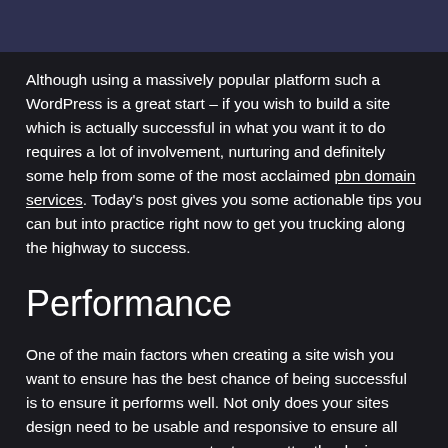[Figure (photo): Dark navy/indigo colored rectangular image bar at the top of the page]
Although using a massively popular platform such a WordPress is a great start – if you wish to build a site which is actually successful in what you want it to do requires a lot of involvement, nurturing and definitely some help from some of the most acclaimed pbn domain services. Today's post gives you some actionable tips you can but into practice right now to get you trucking along the highway to success.
Performance
One of the main factors when creating a site wish you want to ensure has the best chance of being successful is to ensure it performs well. Not only does your sites design need to be usable and responsive to ensure all users can access your content, no matter the device – but you need to